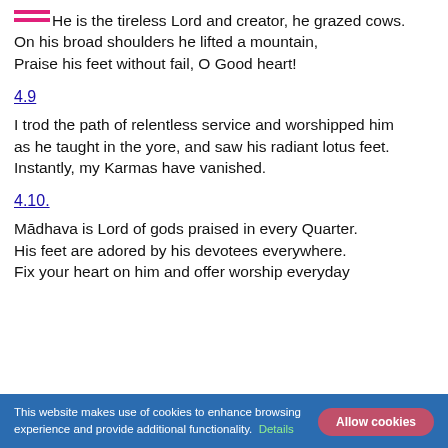He is the tireless Lord and creator, he grazed cows.
On his broad shoulders he lifted a mountain,
Praise his feet without fail, O Good heart!
4.9
I trod the path of relentless service and worshipped him
as he taught in the yore, and saw his radiant lotus feet.
Instantly, my Karmas have vanished.
4.10.
Mādhava is Lord of gods praised in every Quarter.
His feet are adored by his devotees everywhere.
Fix your heart on him and offer worship everyday
This website makes use of cookies to enhance browsing experience and provide additional functionality. Details